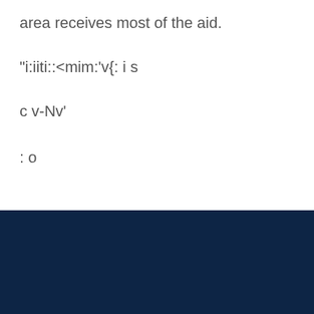area receives most of the aid.
"i:iiti::&lt;mim:'v{: i s
c v-Nv'
: o
Help
Home
© 2022 Regents of the University of
Back to Top